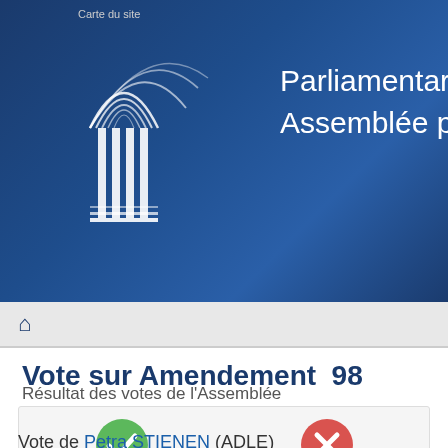Carte du site
[Figure (logo): Council of Europe Parliamentary Assembly logo — white line-art of parliament building with curved lines on dark blue background]
Parliamentary Assembly / Assemblée parlementaire
Home (icon)
Vote sur Amendement  98
Résultat des votes de l'Assemblée
| Pour | Contre |
| --- | --- |
| 36 | 118 |
Vote de Petra STIENEN (ADLE)